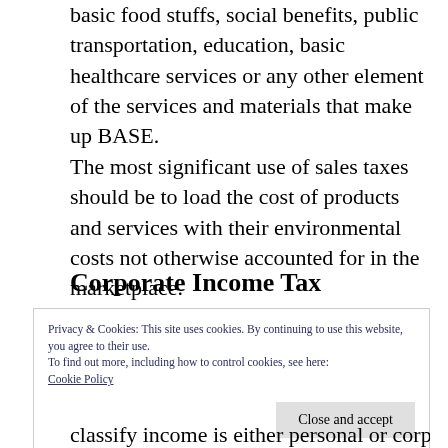basic food stuffs, social benefits, public transportation, education, basic healthcare services or any other element of the services and materials that make up BASE. The most significant use of sales taxes should be to load the cost of products and services with their environmental costs not otherwise accounted for in the marketplace.
Corporate Income Tax
Privacy & Cookies: This site uses cookies. By continuing to use this website, you agree to their use.
To find out more, including how to control cookies, see here:
Cookie Policy
Close and accept
classify income is either personal or corporate